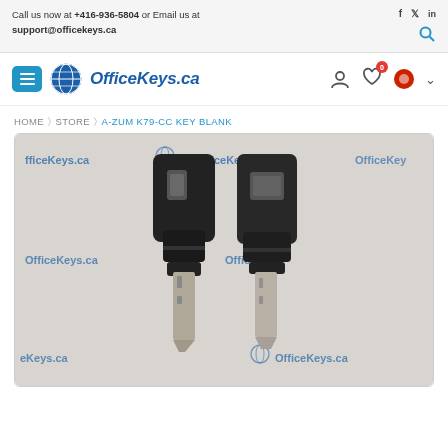Call us now at +416-936-5804 or Email us at support@officekeys.ca
[Figure (logo): OfficeKeys.ca logo with globe icon and italic blue text]
HOME > STORE > A-ZUM K79-CC KEY BLANK
[Figure (photo): Two A-ZUM K79-CC key blanks with black plastic heads and metal blades, shown on an OfficeKeys.ca branded background]